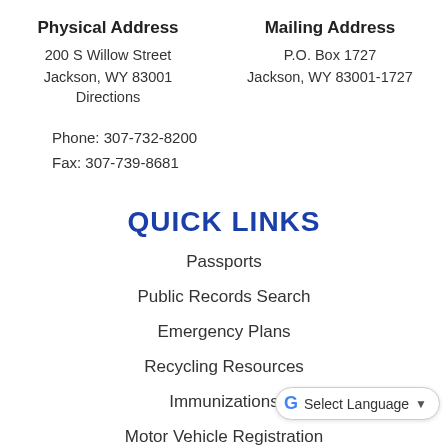Physical Address
200 S Willow Street
Jackson, WY 83001
Directions
Mailing Address
P.O. Box 1727
Jackson, WY 83001-1727
Phone: 307-732-8200
Fax: 307-739-8681
QUICK LINKS
Passports
Public Records Search
Emergency Plans
Recycling Resources
Immunizations
Motor Vehicle Registration